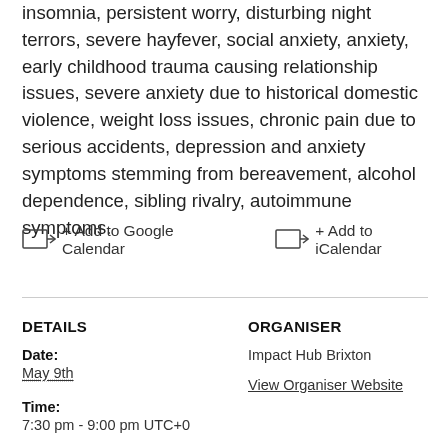insomnia, persistent worry, disturbing night terrors, severe hayfever, social anxiety, anxiety, early childhood trauma causing relationship issues, severe anxiety due to historical domestic violence, weight loss issues, chronic pain due to serious accidents, depression and anxiety symptoms stemming from bereavement, alcohol dependence, sibling rivalry, autoimmune symptoms.
+ Add to Google Calendar
+ Add to iCalendar
DETAILS
ORGANISER
Date:
May 9th
Impact Hub Brixton
View Organiser Website
Time:
7:30 pm - 9:00 pm UTC+0